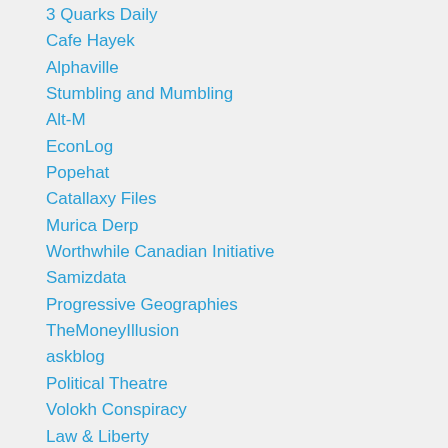3 Quarks Daily
Cafe Hayek
Alphaville
Stumbling and Mumbling
Alt-M
EconLog
Popehat
Catallaxy Files
Murica Derp
Worthwhile Canadian Initiative
Samizdata
Progressive Geographies
TheMoneyIllusion
askblog
Political Theatre
Volokh Conspiracy
Law & Liberty
Uneasy Money
Overcoming Bias
All Along the Watchtower
Pathological Steadied